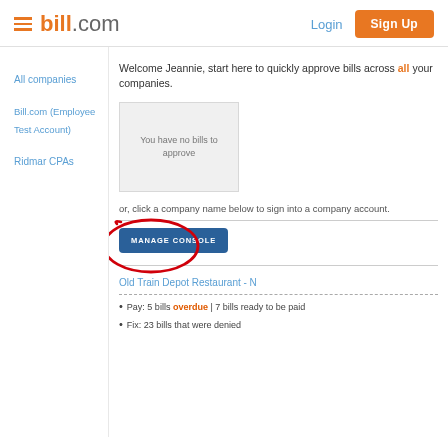bill.com | Login | Sign Up
All companies
Bill.com (Employee Test Account)
Ridmar CPAs
Welcome Jeannie, start here to quickly approve bills across all your companies.
You have no bills to approve
or, click a company name below to sign into a company account.
[Figure (screenshot): MANAGE CONSOLE button circled in red annotation]
Old Train Depot Restaurant - N
Pay: 5 bills overdue | 7 bills ready to be paid
Fix: 23 bills that were denied